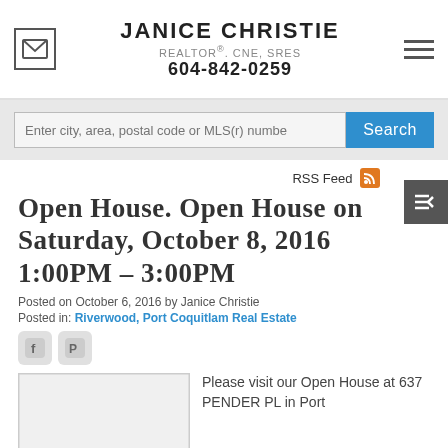JANICE CHRISTIE
REALTOR®. CNE, SRES
604-842-0259
Enter city, area, postal code or MLS(r) numbe
RSS Feed
Open House. Open House on Saturday, October 8, 2016 1:00PM – 3:00PM
Posted on October 6, 2016 by Janice Christie
Posted in: Riverwood, Port Coquitlam Real Estate
[Figure (other): Social share icons: Facebook and Pinterest]
[Figure (photo): Property photo placeholder]
Please visit our Open House at 637 PENDER PL in Port